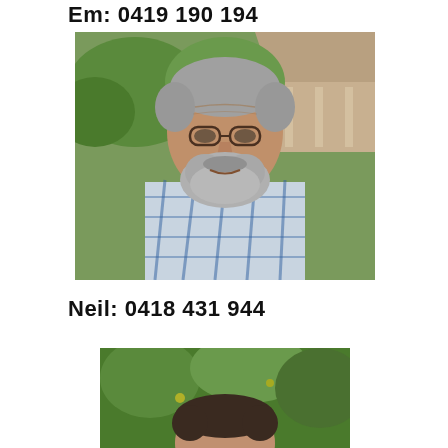Em: 0419 190 194
[Figure (photo): Outdoor photo of a middle-aged man with grey hair and beard, wearing a plaid shirt, with green foliage and a house visible in the background.]
Neil: 0418 431 944
[Figure (photo): Partial photo of a person with dark hair, outdoors with green leafy background, only head/top of person visible.]